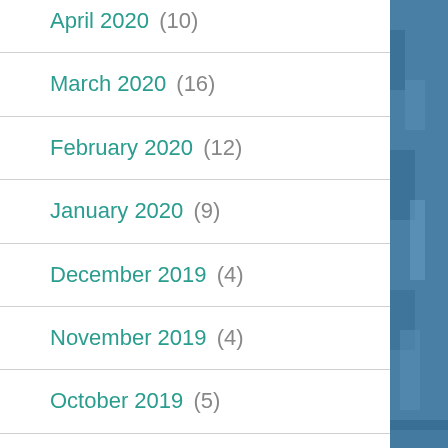April 2020 (10)
March 2020 (16)
February 2020 (12)
January 2020 (9)
December 2019 (4)
November 2019 (4)
October 2019 (5)
September 2019 (3)
August 2019 (3)